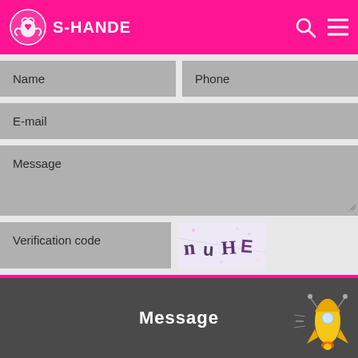S-HANDE
Name
Phone
E-mail
Message
Verification code
[Figure (other): CAPTCHA image showing text 'nuHE' with colorful distorted letters on light background]
SUBMIT
Message
[Figure (illustration): Rocket illustration with yellow body and decorations]